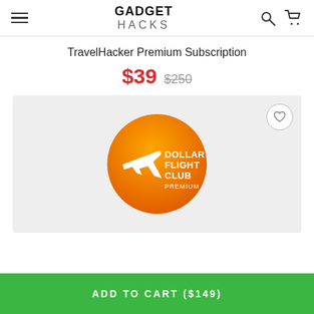GADGET HACKS
TravelHacker Premium Subscription
$39 $250
[Figure (logo): Dollar Flight Club Premium logo — orange circle with white airplane silhouette and text DOLLAR FLIGHT CLUB PREMIUM]
ADD TO CART ($149)